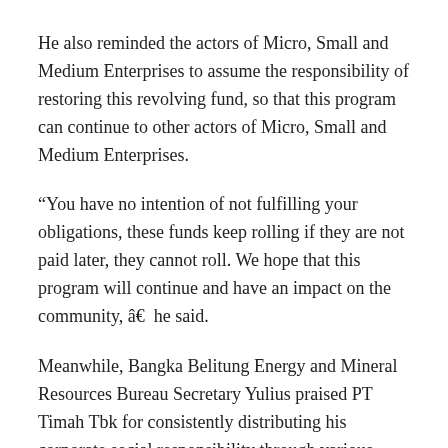He also reminded the actors of Micro, Small and Medium Enterprises to assume the responsibility of restoring this revolving fund, so that this program can continue to other actors of Micro, Small and Medium Enterprises.
“You have no intention of not fulfilling your obligations, these funds keep rolling if they are not paid later, they cannot roll. We hope that this program will continue and have an impact on the community, â€  he said.
Meanwhile, Bangka Belitung Energy and Mineral Resources Bureau Secretary Yulius praised PT Timah Tbk for consistently distributing his corporate social responsibility through various programs such as micro-small business finance. .
“We are very proud that PT Timah has returned to funneling funds for micro, small and medium business players, the